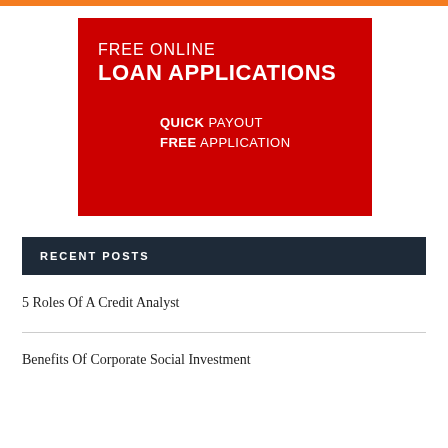[Figure (infographic): Red banner advertisement for free online loan applications. Text reads: FREE ONLINE LOAN APPLICATIONS / QUICK PAYOUT / FREE APPLICATION]
RECENT POSTS
5 Roles Of A Credit Analyst
Benefits Of Corporate Social Investment